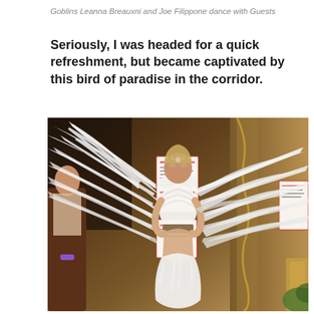Goblins Leanna Breauxni and Joe Filippone dance with Guests
Seriously, I was headed for a quick refreshment, but became captivated by this bird of paradise in the corridor.
[Figure (photo): A person in an elaborate white bird of paradise costume with large white feathered wings spread wide, white feathered bodice, standing in a corridor with ornate golden-brown decor. Another partially visible person stands to the left.]